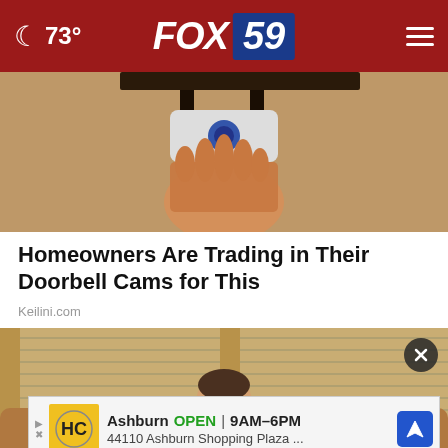FOX 59 — 73°
[Figure (photo): Close-up photo of a hand reaching under a shelf or mount, appearing to grab a small security camera device against a stone/brick wall background.]
Homeowners Are Trading in Their Doorbell Cams for This
Keilini.com
[Figure (photo): Photo of a man lying back on a couch with his head tilted back and eyes closed, with window blinds visible in the background.]
Ashburn  OPEN | 9AM–6PM  44110 Ashburn Shopping Plaza …